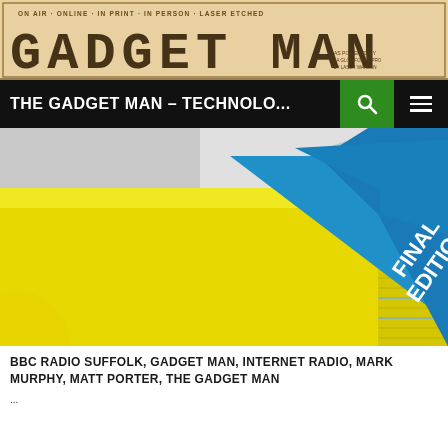[Figure (logo): Gadget Man logo banner on tan/beige background with dotted matrix text style. Tagline reads: ON AIR · ONLINE · IN PRINT · IN PERSON · LASER ETCHED. Large text reads: GADGET MAN]
THE GADGET MAN – TECHNOLO...
[Figure (photo): A close-up photo of a yellow book/booklet with a blue triangular shape on the cover bearing the text 'FINAL EDITION' in white. The spine shows stacked yellow pages. Background is light grey/white surface.]
BBC RADIO SUFFOLK, GADGET MAN, INTERNET RADIO, MARK MURPHY, MATT PORTER, THE GADGET MAN
...